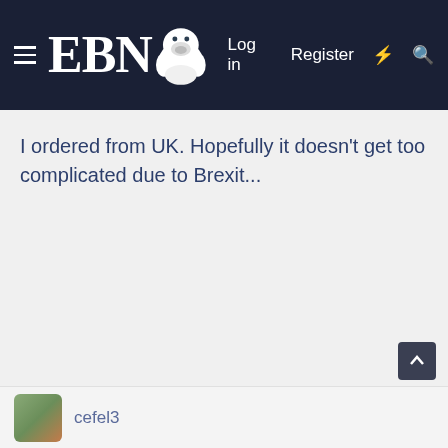EBN — Log in  Register
I ordered from UK. Hopefully it doesn't get too complicated due to Brexit...
cefel3